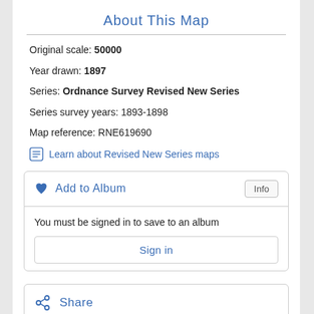About This Map
Original scale: 50000
Year drawn: 1897
Series: Ordnance Survey Revised New Series
Series survey years: 1893-1898
Map reference: RNE619690
Learn about Revised New Series maps
Add to Album
You must be signed in to save to an album
Sign in
Share